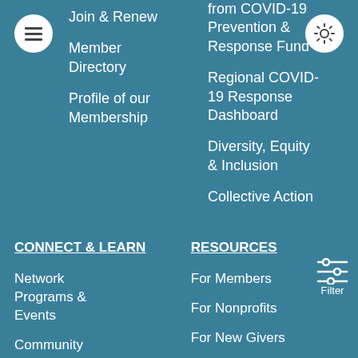Join & Renew
Member Directory
Profile of our Membership
from COVID-19 Prevention & Response Fund
Regional COVID-19 Response Dashboard
Diversity, Equity & Inclusion
Collective Action
CONNECT & LEARN
RESOURCES
Network Programs & Events
Community
For Members
For Nonprofits
For New Givers